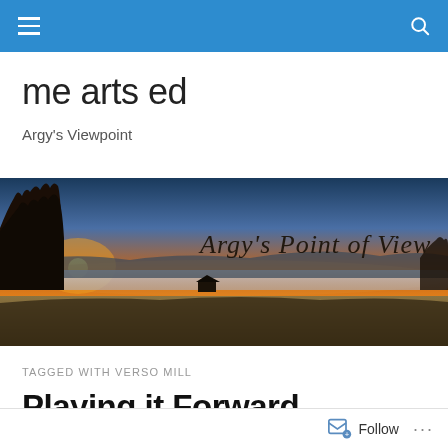me arts ed — navigation bar
me arts ed
Argy's Viewpoint
[Figure (photo): Panoramic landscape photograph at sunset showing orange sky, silhouetted trees on the left, rolling hills, fog over a bay or lake, a farmhouse in the distance, and the cursive text 'Argy's Point of View' overlaid on the right side.]
TAGGED WITH VERSO MILL
Playing it Forward
Follow